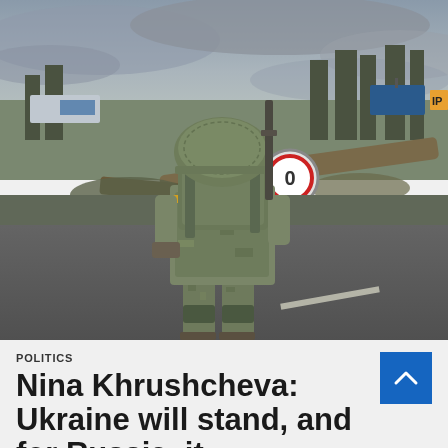[Figure (photo): A Ukrainian soldier in full combat gear (camouflage uniform, body armor, helmet with netting) stands with back to camera in the middle of a road. Fallen trees and debris are visible in the background, along with road signs and a gray overcast sky.]
POLITICS
Nina Khrushcheva: Ukraine will stand, and for Russia, it